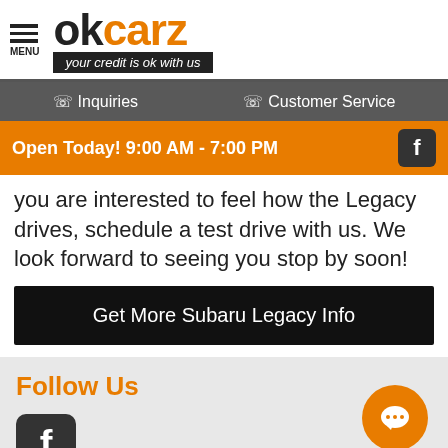[Figure (logo): OkCarz logo with menu icon — 'ok' in black, 'carz' in orange, tagline 'your credit is ok with us' on black banner]
Inquiries   Customer Service
Open Today! 9:00 AM - 7:00 PM
you are interested to feel how the Legacy drives, schedule a test drive with us. We look forward to seeing you stop by soon!
Get More Subaru Legacy Info
Follow Us
[Figure (logo): Facebook icon logo in dark square rounded rectangle]
Customer Service